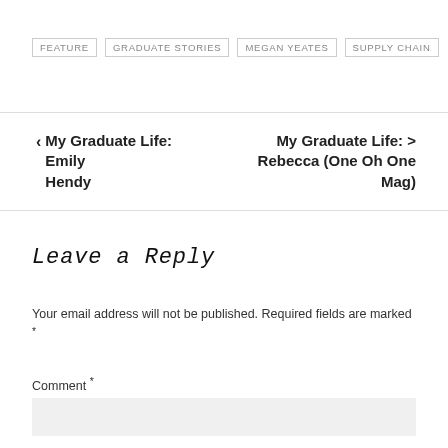FEATURE
GRADUATE STORIES
MEGAN YEATES
SUPPLY CHAIN
< My Graduate Life: Emily Hendy
My Graduate Life: Rebecca (One Oh One Mag) >
Leave a Reply
Your email address will not be published. Required fields are marked *
Comment *